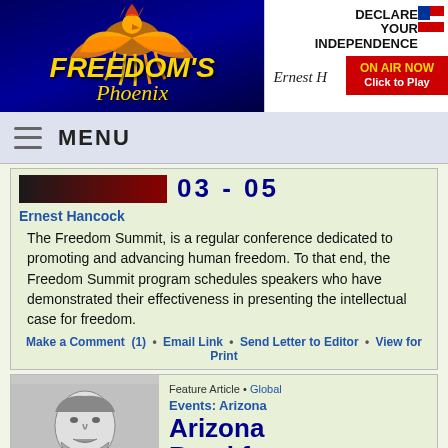[Figure (logo): Freedom's Phoenix website logo with golden phoenix bird on dark blue background]
[Figure (screenshot): Declare Your Independence with Ernest Hancock - ON AIR NOW Click to Play advertisement banner]
MENU
[Figure (other): Article header image with red and black bar showing '03 - 05']
Ernest Hancock
The Freedom Summit, is a regular conference dedicated to promoting and advancing human freedom. To that end, the Freedom Summit program schedules speakers who have demonstrated their effectiveness in presenting the intellectual case for freedom.
Make a Comment  (1)  •  Email Link  •  Send Letter to Editor  •  View for Print
[Figure (illustration): Black and white portrait illustration of a bearded man]
Feature Article • Global
Events: Arizona
Arizona Breakfast Club this